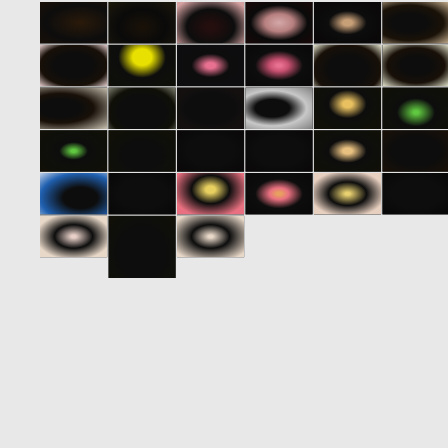[Figure (photo): Grid of 35 thumbnail photos of black puppies (likely poodles or doodles) in various settings including pink patterned blankets, green towels, yellow backgrounds, and person's hands. Photos arranged in 6 rows with 6 columns in rows 1-5 and 3 columns in row 6.]